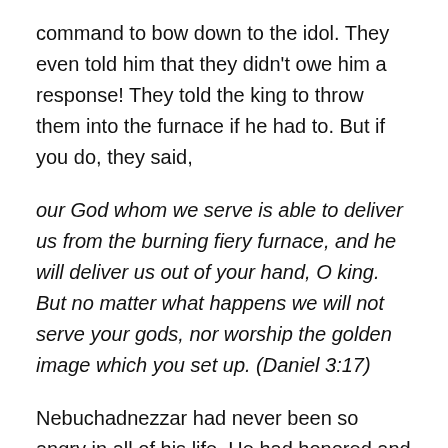command to bow down to the idol. They even told him that they didn't owe him a response! They told the king to throw them into the furnace if he had to. But if you do, they said,
our God whom we serve is able to deliver us from the burning fiery furnace, and he will deliver us out of your hand, O king. But no matter what happens we will not serve your gods, nor worship the golden image which you set up. (Daniel 3:17)
Nebuchadnezzar had never been so angry in all of his life. He had honored and trusted these young men with delegated power, and they showed their gratitude by making him look foolish in front of the entire country! If nothing else, he had to make an example of them. He commanded that the furnace be heated up to seven times